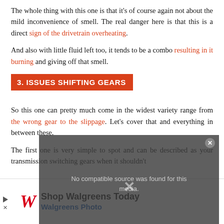The whole thing with this one is that it's of course again not about the mild inconvenience of smell. The real danger here is that this is a direct sign of the drivetrain overheating.
And also with little fluid left too, it tends to be a combo resulting in it burning and giving off that smell.
3. ISSUES SHIFTING GEARS
So this one can pretty much come in the widest variety range from the wrong gear to the slippage. Let's cover that and everything in between these.
The first one is very simple to spot and can be described as your transmission switching gears when it shouldn't
[Figure (screenshot): Walgreens advertisement overlay with media player error message and Walgreens Photo promotional banner at the bottom.]